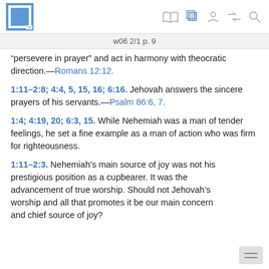w06 2/1 p. 9
“persevere in prayer” and act in harmony with theocratic direction.—Romans 12:12.
1:11–2:8; 4:4, 5, 15, 16; 6:16. Jehovah answers the sincere prayers of his servants.—Psalm 86:6, 7.
1:4; 4:19, 20; 6:3, 15. While Nehemiah was a man of tender feelings, he set a fine example as a man of action who was firm for righteousness.
1:11–2:3. Nehemiah’s main source of joy was not his prestigious position as a cupbearer. It was the advancement of true worship. Should not Jehovah’s worship and all that promotes it be our main concern and chief source of joy?